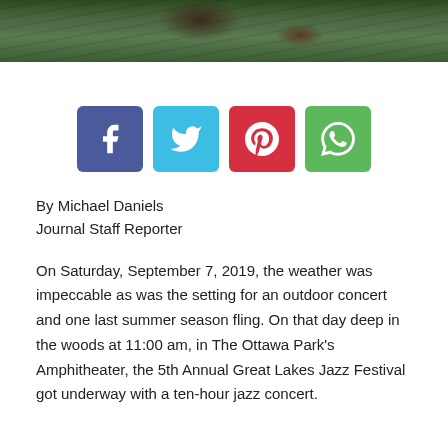[Figure (photo): Partial photo showing green grass/foliage and a dark brown object, cropped at top of page]
[Figure (infographic): Social media share buttons: Facebook (blue-purple), Twitter (light blue), Pinterest (red), WhatsApp (green)]
By Michael Daniels
Journal Staff Reporter
On Saturday, September 7, 2019, the weather was impeccable as was the setting for an outdoor concert and one last summer season fling. On that day deep in the woods at 11:00 am, in The Ottawa Park's Amphitheater, the 5th Annual Great Lakes Jazz Festival got underway with a ten-hour jazz concert.